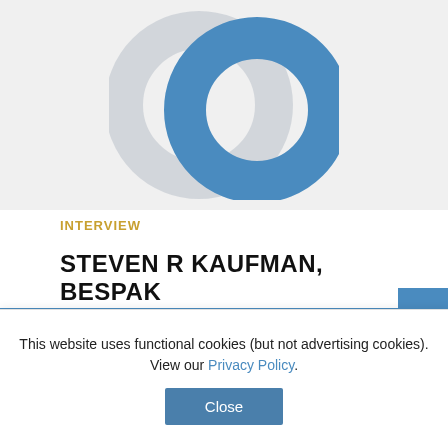[Figure (logo): Two overlapping rings/circles logo: a light grey circle (left) and a blue ring (right) overlapping, on a light grey background]
INTERVIEW
STEVEN R KAUFMAN, BESPAK
Steven Kaufman is Global Business Development Lead at Bespak Europe Ltd, responsible for business development activities related to injectable devices such as auto-injectors and wearable injection systems.
This website uses functional cookies (but not advertising cookies). View our Privacy Policy.